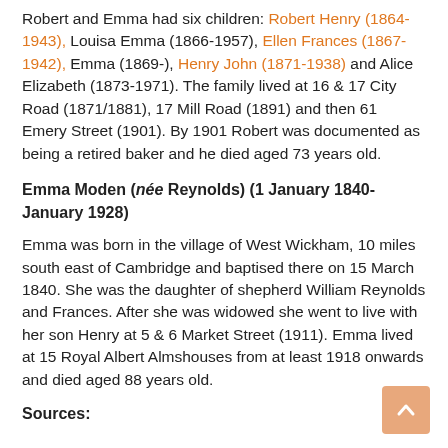Robert and Emma had six children: Robert Henry (1864-1943), Louisa Emma (1866-1957), Ellen Frances (1867-1942), Emma (1869-), Henry John (1871-1938) and Alice Elizabeth (1873-1971). The family lived at 16 & 17 City Road (1871/1881), 17 Mill Road (1891) and then 61 Emery Street (1901). By 1901 Robert was documented as being a retired baker and he died aged 73 years old.
Emma Moden (née Reynolds) (1 January 1840-January 1928)
Emma was born in the village of West Wickham, 10 miles south east of Cambridge and baptised there on 15 March 1840. She was the daughter of shepherd William Reynolds and Frances. After she was widowed she went to live with her son Henry at 5 & 6 Market Street (1911). Emma lived at 15 Royal Albert Almshouses from at least 1918 onwards and died aged 88 years old.
Sources: